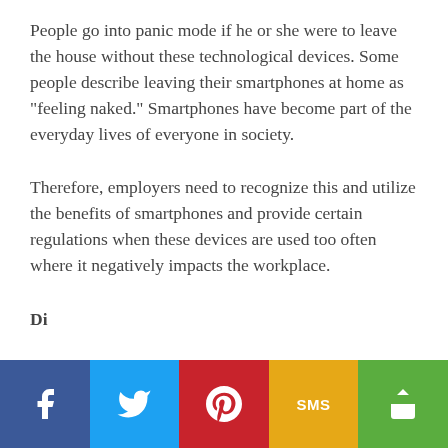People go into panic mode if he or she were to leave the house without these technological devices. Some people describe leaving their smartphones at home as "feeling naked." Smartphones have become part of the everyday lives of everyone in society.
Therefore, employers need to recognize this and utilize the benefits of smartphones and provide certain regulations when these devices are used too often where it negatively impacts the workplace.
Di...
[Figure (infographic): Social sharing bar with five buttons: Facebook (blue, f icon), Twitter (light blue, bird icon), Pinterest (red, P icon), SMS (yellow/amber, SMS text), Share (green, < icon)]